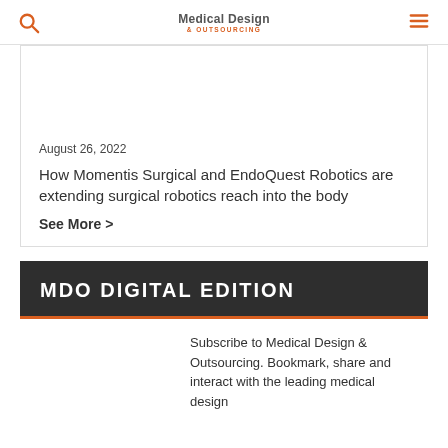Medical Design & OUTSOURCING
August 26, 2022
How Momentis Surgical and EndoQuest Robotics are extending surgical robotics reach into the body
See More >
MDO DIGITAL EDITION
Subscribe to Medical Design & Outsourcing. Bookmark, share and interact with the leading medical design